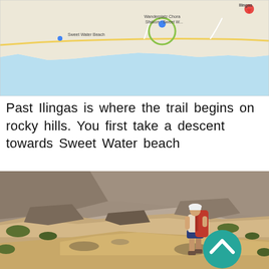[Figure (map): Google Maps style map showing coastline with Sweet Water Beach on the left, Wanderplatz Chora Sfakion - Sweet Water in the center (circled in green), and Ilingas on the upper right with a red pin. The map shows a coastal area with blue water and land features.]
Past Ilingas is where the trail begins on rocky hills. You first take a descent towards Sweet Water beach
[Figure (photo): Photo of a hiker with a red backpack and white cap ascending a rocky, dry mountain trail. The terrain is rugged with scattered rocks and sparse vegetation. A teal/green circular button with an upward arrow chevron is overlaid in the lower right area of the photo.]